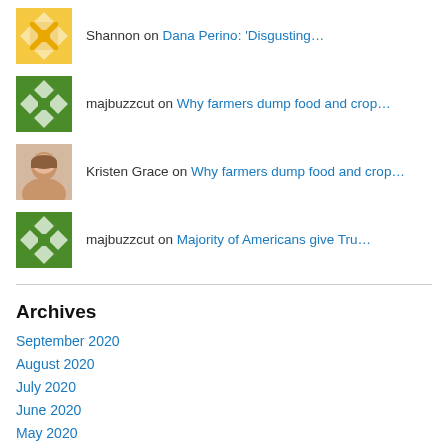Shannon on Dana Perino: 'Disgusting…
majbuzzcut on Why farmers dump food and crop…
Kristen Grace on Why farmers dump food and crop…
majbuzzcut on Majority of Americans give Tru…
Archives
September 2020
August 2020
July 2020
June 2020
May 2020
April 2020